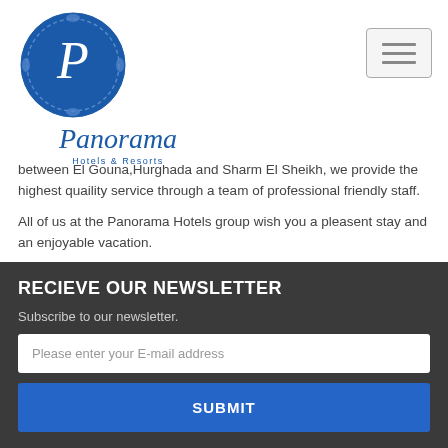[Figure (logo): Panorama Hotels & Resorts circular blue logo with decorative border and cursive P, with cursive 'Panorama Hotels & Resorts' text below]
between El Gouna,Hurghada and Sharm El Sheikh, we provide the highest quaility service through a team of professional friendly staff.

All of us at the Panorama Hotels group wish you a pleasent stay and an enjoyable vacation.
RECIEVE OUR NEWSLETTER
Subscribe to our newsletter.
Please enter your E-mail address
SUBMIT